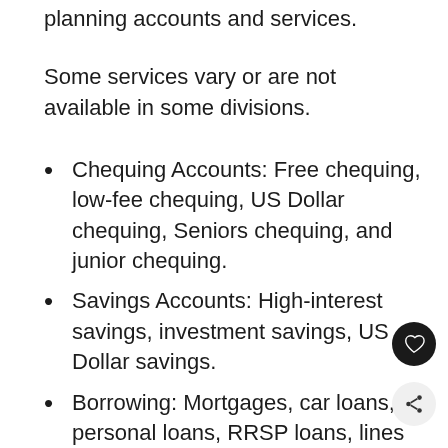planning accounts and services.
Some services vary or are not available in some divisions.
Chequing Accounts: Free chequing, low-fee chequing, US Dollar chequing, Seniors chequing, and junior chequing.
Savings Accounts: High-interest savings, investment savings, US Dollar savings.
Borrowing: Mortgages, car loans, personal loans, RRSP loans, lines of